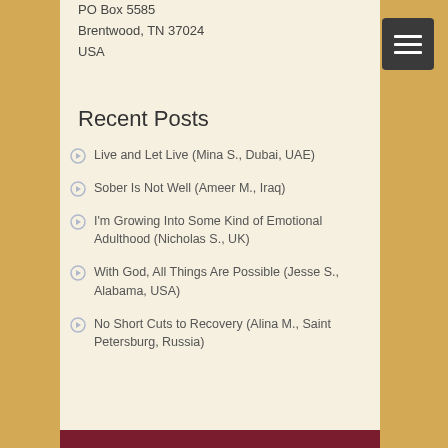PO Box 5585
Brentwood, TN 37024
USA
Recent Posts
Live and Let Live (Mina S., Dubai, UAE)
Sober Is Not Well (Ameer M., Iraq)
I'm Growing Into Some Kind of Emotional Adulthood (Nicholas S., UK)
With God, All Things Are Possible (Jesse S., Alabama, USA)
No Short Cuts to Recovery (Alina M., Saint Petersburg, Russia)